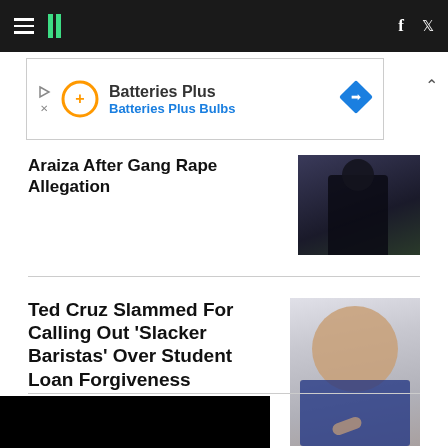HuffPost navigation with hamburger menu, logo, Facebook and Twitter icons
[Figure (screenshot): Advertisement banner for Batteries Plus / Batteries Plus Bulbs with orange logo icon and blue diamond road sign icon]
Araiza After Gang Rape Allegation
[Figure (photo): Photo of a person wearing a dark t-shirt with number 1]
Ted Cruz Slammed For Calling Out 'Slacker Baristas' Over Student Loan Forgiveness
[Figure (photo): Photo of Ted Cruz speaking, pointing finger, wearing blue suit]
[Figure (photo): Black video thumbnail at bottom of page]